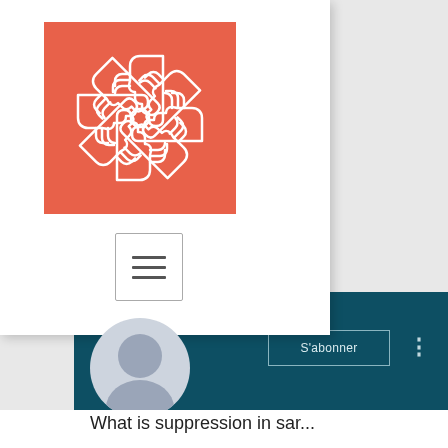[Figure (logo): Orange/red square logo with circular arrangement of hands forming a sun-like pattern in white line art]
[Figure (other): Hamburger menu button with three horizontal lines inside a rounded rectangle border]
[Figure (other): Dark teal YouTube-style channel card with subscribe button, three-dot menu, and user avatar]
What is suppression in sar...